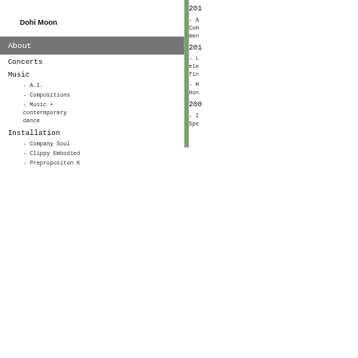Dohi Moon
About
Concerts
Music
- A.I.
- Compositions
- Music + contermporary dance
Installation
- Company Soul
- Clippy Embodied
- Prepropositon K
201
- A Com men
201
- L ele fin
- M Hon
200
- I Spe